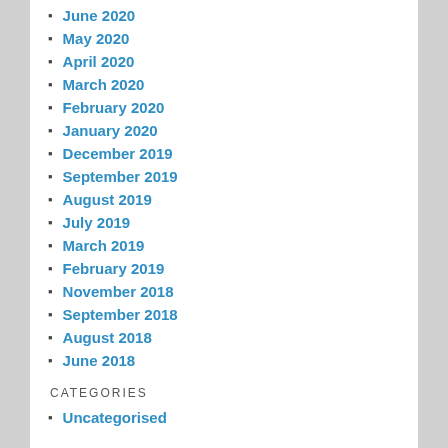June 2020
May 2020
April 2020
March 2020
February 2020
January 2020
December 2019
September 2019
August 2019
July 2019
March 2019
February 2019
November 2018
September 2018
August 2018
June 2018
CATEGORIES
Uncategorised